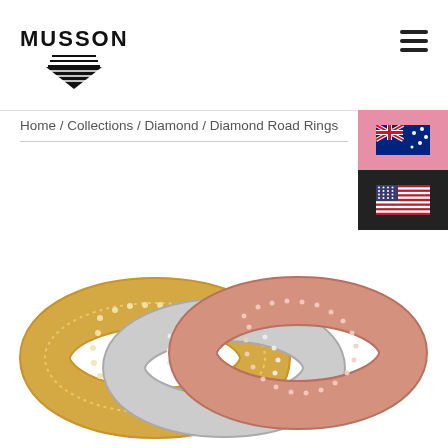[Figure (logo): Musson jewellery logo: diamond-shaped icon with horizontal lines and text MUSSON]
Home / Collections / Diamond / Diamond Road Rings
[Figure (photo): Three diamond-encrusted eternity rings in yellow gold, white gold, and rose gold, intertwined together, showing pavé-set diamonds across wide bands]